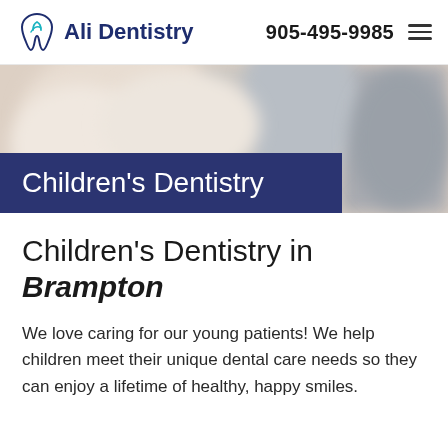Ali Dentistry | 905-495-9985
[Figure (photo): Blurred background photo of a dental office or clinical setting with light tones]
Children's Dentistry
Children's Dentistry in Brampton
We love caring for our young patients! We help children meet their unique dental care needs so they can enjoy a lifetime of healthy, happy smiles.